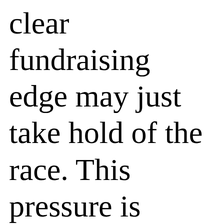clear fundraising edge may just take hold of the race. This pressure is therefore on Tenney to show early momentum,